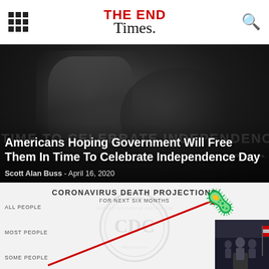THE END Times.
[Figure (photo): Black and white close-up of a person pressing their hand against a rain-covered window, face partially visible in shadow]
Americans Hoping Government Will Free Them In Time To Celebrate Independence Day
Scott Alan Buss  -  April 16, 2020
[Figure (infographic): Coronavirus Death Projections for Next Six Months infographic with CDC watermark logo, showing categories ALL PEOPLE, MOST PEOPLE, SOME PEOPLE with a red diagonal arrow line going upward, and a coronavirus emoji icon in top right, plus a small inset photo of people at a podium]